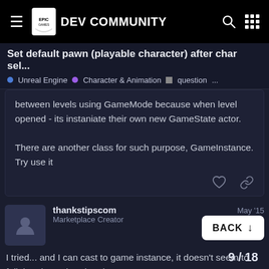Epic Games DEV COMMUNITY
Set default pawn (playable character) after char sel...
Unreal Engine  •  Character & Animation  •  question  ...
between levels using GameMode because when level opened - its instaniate their own new GameState actor.
There are another class for such purpose, GameInstance. Try use it
thankstipscom
Marketplace Creator
May '15
I tried... and I can cast to game instance, it doesn't seem to fail. but then what do I do
9 / 18